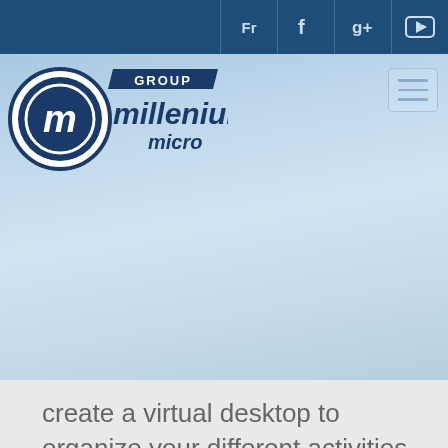[Figure (screenshot): Millenium Micro Group website header with top navigation bar showing Fr, Facebook, Google+, and YouTube icons on dark blue background]
[Figure (logo): Group Millenium Micro logo: circular M emblem with company name in dark blue and navy]
create a virtual desktop to organize your different activities.
Windows Store
[Figure (screenshot): Bottom portion showing a screenshot of Windows interface]